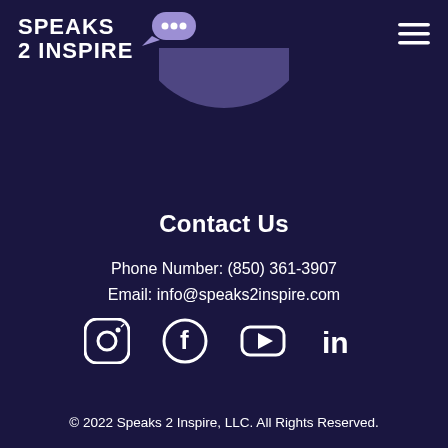SPEAKS 2 INSPIRE
[Figure (illustration): Partial circular arc/avatar shape in muted purple, centered near top of page]
Contact Us
Phone Number: (850) 361-3907
Email: info@speaks2inspire.com
[Figure (illustration): Social media icons row: Instagram, Facebook, YouTube, LinkedIn — white on dark background]
© 2022 Speaks 2 Inspire, LLC. All Rights Reserved.